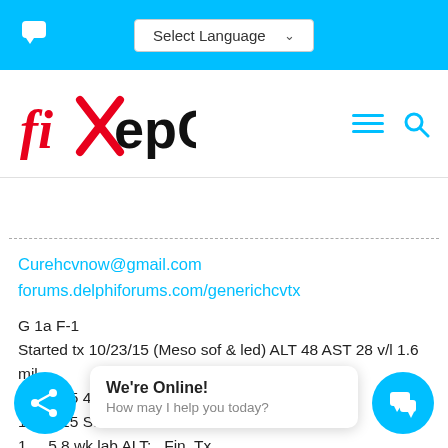Select Language [dropdown] — fiXepC website header with hamburger menu and search icon
[Figure (logo): fiXepC logo with red X overlaid on the word fixhepc in black text]
Curehcvnow@gmail.com
forums.delphiforums.com/generichcvtx
G 1a F-1
Started tx 10/23/15 (Meso sof & led) ALT 48 AST 28 v/l 1.6 mil
11/17/15 4 wk lab ALT 17 AST 16 <15
11/18/15 Started Harvoni
1   5 8 wk lab ALT:   Fin. Tx
7   UND SVR 24
We're Online!
How may I help you today?